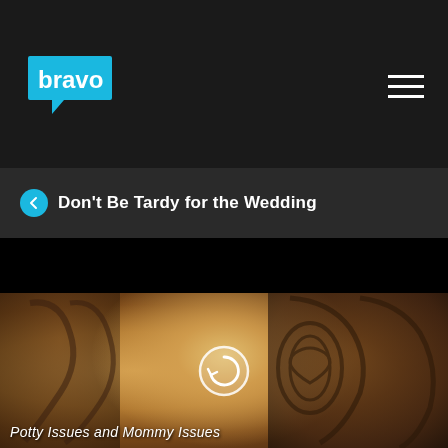[Figure (logo): Bravo TV logo — cyan speech bubble with 'bravo' text in white]
Don't Be Tardy for the Wedding
[Figure (screenshot): Video thumbnail showing a blonde woman seated at a table with ornate iron chairs. A circular replay/play icon is overlaid in the center.]
Potty Issues and Mommy Issues